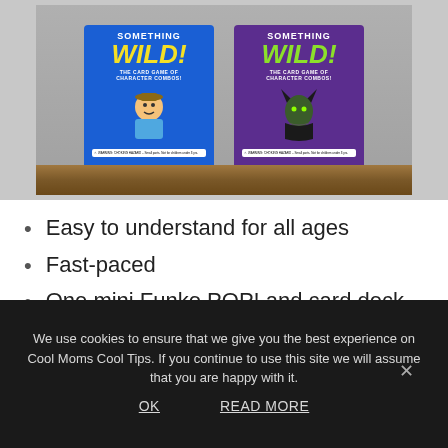[Figure (photo): Two 'Something Wild!' card game boxes — one blue (Toy Story/Woody themed) and one purple (Maleficent themed) — sitting on a wooden shelf.]
Easy to understand for all ages
Fast-paced
One mini Funko POP! and card deck
You can combine versions for even
We use cookies to ensure that we give you the best experience on Cool Moms Cool Tips. If you continue to use this site we will assume that you are happy with it.